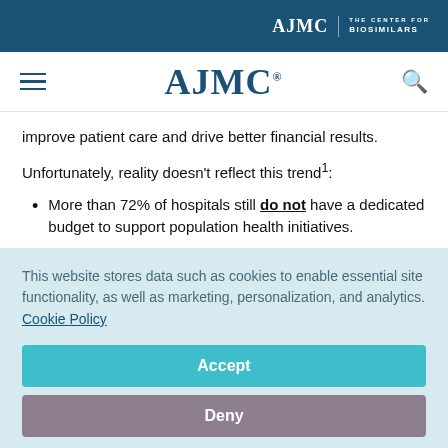AJMC | THE CENTER FOR BIOSIMILARS
[Figure (logo): AJMC navigation header with hamburger menu and search icon]
improve patient care and drive better financial results.
Unfortunately, reality doesn't reflect this trend¹:
More than 72% of hospitals still do not have a dedicated budget to support population health initiatives.
This website stores data such as cookies to enable essential site functionality, as well as marketing, personalization, and analytics. Cookie Policy
Accept
Deny